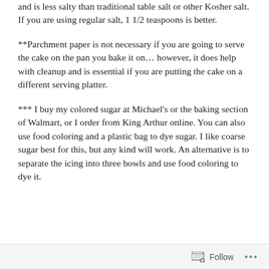and is less salty than traditional table salt or other Kosher salt. If you are using regular salt, 1 1/2 teaspoons is better.
**Parchment paper is not necessary if you are going to serve the cake on the pan you bake it on... however, it does help with cleanup and is essential if you are putting the cake on a different serving platter.
*** I buy my colored sugar at Michael's or the baking section of Walmart, or I order from King Arthur online. You can also use food coloring and a plastic bag to dye sugar. I like coarse sugar best for this, but any kind will work. An alternative is to separate the icing into three bowls and use food coloring to dye it.
Follow